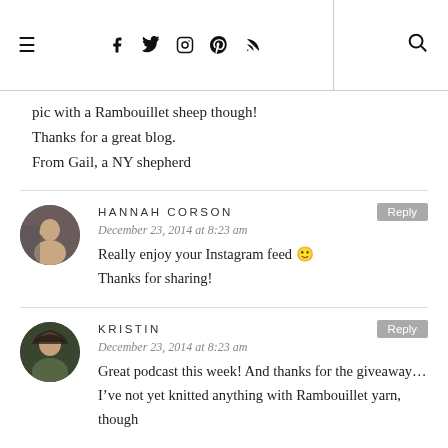≡ | f  tw  ig  p  rss | 🔍
pic with a Rambouillet sheep though!
Thanks for a great blog.
From Gail, a NY shepherd
HANNAH CORSON
December 23, 2014 at 8:23 am
Really enjoy your Instagram feed 🙂
Thanks for sharing!
KRISTIN
December 23, 2014 at 8:23 am
Great podcast this week! And thanks for the giveaway…I've not yet knitted anything with Rambouillet yarn, though